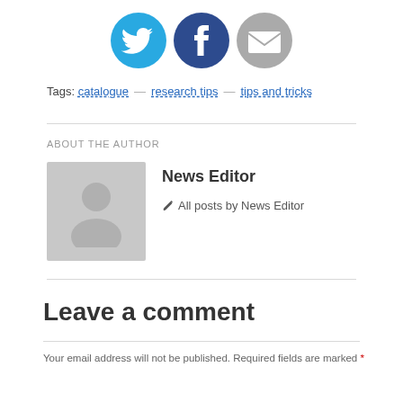[Figure (infographic): Three social share icons: Twitter (blue bird), Facebook (dark blue f), and Email (grey envelope)]
Tags: catalogue — research tips — tips and tricks
ABOUT THE AUTHOR
[Figure (photo): Generic grey avatar placeholder image with a person silhouette]
News Editor
✏ All posts by News Editor
Leave a comment
Your email address will not be published. Required fields are marked *